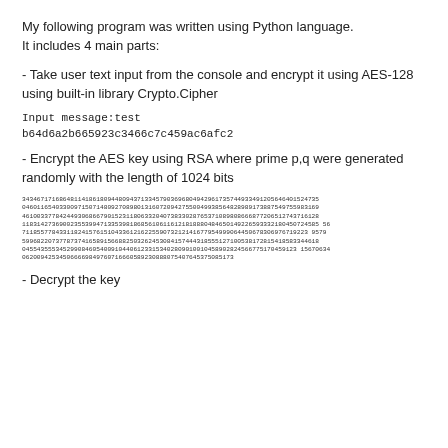My following program was written using Python language. It includes 4 main parts:
- Take user text input from the console and encrypt it using AES-128 using built-in library Crypto.Cipher
Input message:test
b64d6a2b665923c3466c7c459ac6afc2
- Encrypt the AES key using RSA where prime p,q were generated randomly with the length of 1024 bits
34346717168648114186180944809437133457903696804942961735744933491205646401524735
04601165403300971507148092708980131607209427550049938564828989173887549755983169
46100337784244930686679015231180633204073833028765371089808666877206512743716128
11831427369002355399471335398186856106116121818880484650149226593332180450724585 56
71185577843311824157615104336121622559073212141677954999064450678306976719223 9579
59968220737787374165891566882503262453084157444318555127100538172815418583344618
04554355534529908460540091044061233153402809010010458902824566775170459123 15670634
062009425345066669849760716660589230888075407645375085173
- Decrypt the key